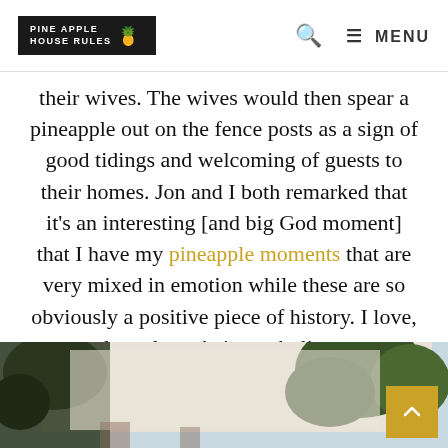PINEAPPLE HOUSE RULES — Search — MENU
their wives. The wives would then spear a pineapple out on the fence posts as a sign of good tidings and welcoming of guests to their homes. Jon and I both remarked that it's an interesting [and big God moment] that I have my pineapple moments that are very mixed in emotion while these are so obviously a positive piece of history. I love, love, love their symbolism.
[Figure (photo): Outdoor photo showing a building exterior with trees against a light sky, taken from below looking up.]